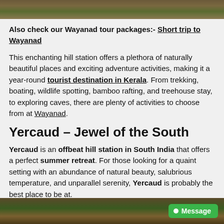[Figure (photo): Aerial or landscape photo of a hill station, vegetation and earth tones visible at top of page]
Also check our Wayanad tour packages:- Short trip to Wayanad
This enchanting hill station offers a plethora of naturally beautiful places and exciting adventure activities, making it a year-round tourist destination in Kerala. From trekking, boating, wildlife spotting, bamboo rafting, and treehouse stay, to exploring caves, there are plenty of activities to choose from at Wayanad.
Yercaud – Jewel of the South
Yercaud is an offbeat hill station in South India that offers a perfect summer retreat. For those looking for a quaint setting with an abundance of natural beauty, salubrious temperature, and unparallel serenity, Yercaud is probably the best place to be at.
[Figure (photo): Landscape photo of Yercaud showing trees and vegetation, partially visible at bottom of page]